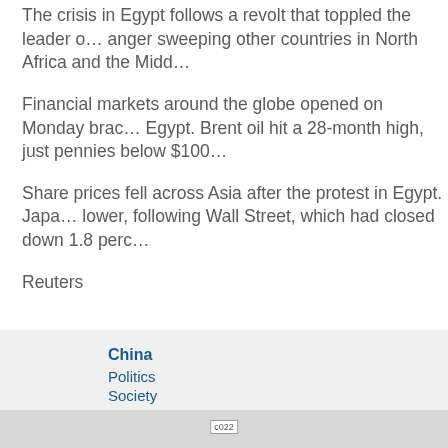The crisis in Egypt follows a revolt that toppled the leader of Tunisia, anger sweeping other countries in North Africa and the Middle
Financial markets around the globe opened on Monday bracing for instability in Egypt. Brent oil hit a 28-month high, just pennies below $100
Share prices fell across Asia after the protest in Egypt. Japan's Nikkei index fell lower, following Wall Street, which had closed down 1.8 perc
Reuters
China
Politics
Society
c022